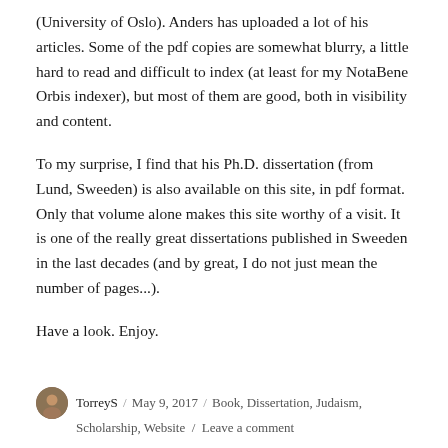(University of Oslo). Anders has uploaded a lot of his articles. Some of the pdf copies are somewhat blurry, a little hard to read and difficult to index (at least for my NotaBene Orbis indexer), but most of them are good, both in visibility and content.
To my surprise, I find that his Ph.D. dissertation (from Lund, Sweeden) is also available on this site, in pdf format. Only that volume alone makes this site worthy of a visit. It is one of the really great dissertations published in Sweeden in the last decades (and by great, I do not just mean the number of pages...).
Have a look. Enjoy.
TorreyS / May 9, 2017 / Book, Dissertation, Judaism, Scholarship, Website / Leave a comment